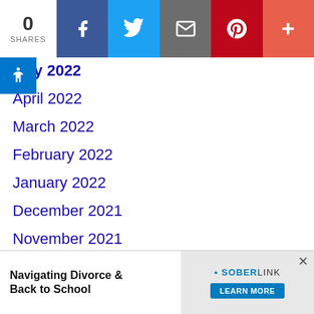[Figure (other): Social share bar with count 0 SHARES, Facebook, Twitter, Email, Pinterest, and More buttons]
May 2022
April 2022
March 2022
February 2022
January 2022
December 2021
November 2021
October 2021
September 2021
August 2021
[Figure (other): Advertisement banner: Navigating Divorce & Back to School with Soberlink Learn More button and close X]